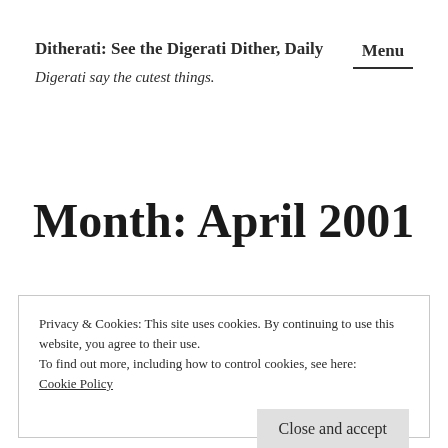Ditherati: See the Digerati Dither, Daily
Digerati say the cutest things.
Menu
Month: April 2001
Privacy & Cookies: This site uses cookies. By continuing to use this website, you agree to their use.
To find out more, including how to control cookies, see here:
Cookie Policy
Close and accept